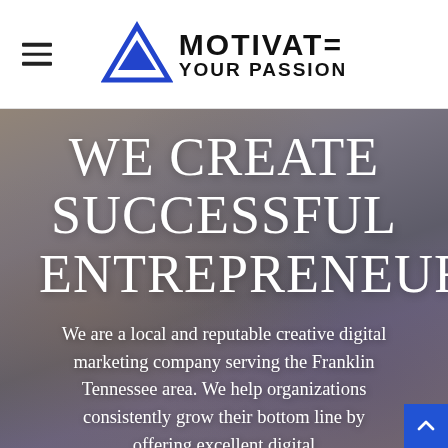MOTIVATE YOUR PASSION
WE CREATE SUCCESSFUL ENTREPRENEURS
We are a local and reputable creative digital marketing company serving the Franklin Tennessee area. We help organizations consistently grow their bottom line by offering excellent digital